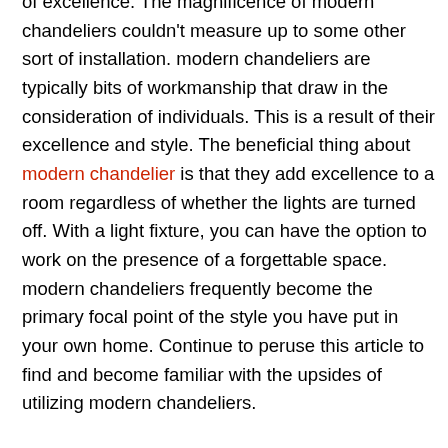of excellence. The magnificence of modern chandeliers couldn't measure up to some other sort of installation. modern chandeliers are typically bits of workmanship that draw in the consideration of individuals. This is a result of their excellence and style. The beneficial thing about modern chandelier is that they add excellence to a room regardless of whether the lights are turned off. With a light fixture, you can have the option to work on the presence of a forgettable space. modern chandeliers frequently become the primary focal point of the style you have put in your own home. Continue to peruse this article to find and become familiar with the upsides of utilizing modern chandeliers.
One more benefit of modern chandeliers is that they assist you with saving space. Most installations including lights take a great deal of room in your room. Assuming you have the least space in your home, this can be a significant issue and you ought to think about utilizing a crystal modern chandelier all things